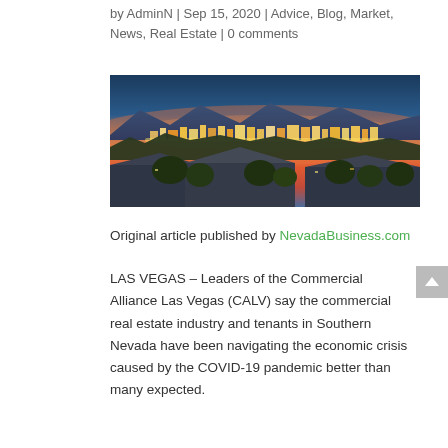by AdminN | Sep 15, 2020 | Advice, Blog, Market, News, Real Estate | 0 comments
[Figure (photo): Aerial panoramic view of Las Vegas Strip at sunset/dusk with residential neighborhoods in the foreground, mountains in the background, and colorful orange and blue sky.]
Original article published by NevadaBusiness.com
LAS VEGAS – Leaders of the Commercial Alliance Las Vegas (CALV) say the commercial real estate industry and tenants in Southern Nevada have been navigating the economic crisis caused by the COVID-19 pandemic better than many expected.